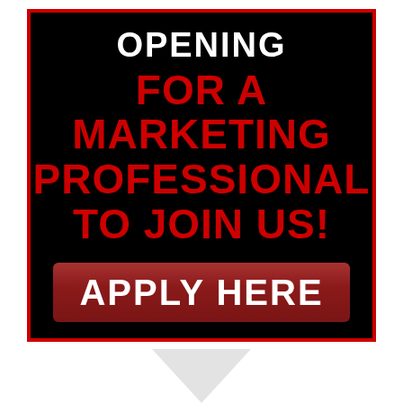OPENING
FOR A MARKETING PROFESSIONAL TO JOIN US!
[Figure (other): Red button with white text reading APPLY HERE]